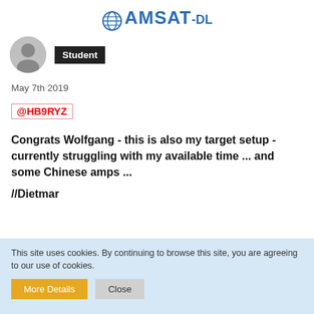AMSAT-DL
[Figure (illustration): User avatar placeholder circle with person silhouette]
Student
May 7th 2019
@HB9RYZ
Congrats Wolfgang - this is also my target setup - currently struggling with my available time ... and some Chinese amps ...

//Dietmar
This site uses cookies. By continuing to browse this site, you are agreeing to our use of cookies.